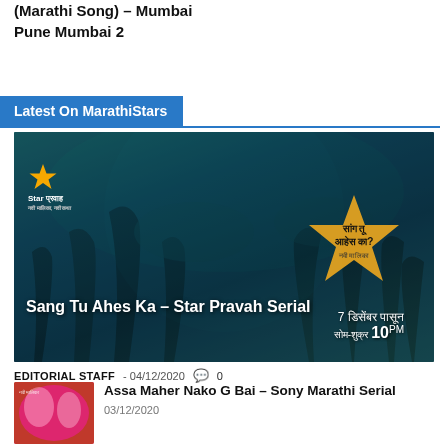(Marathi Song) – Mumbai
Pune Mumbai 2
Latest On MarathiStars
[Figure (photo): Promotional banner for Sang Tu Ahes Ka Star Pravah Serial showing three actors in a dark forest setting with Star Pravah logo and Devanagari text]
Sang Tu Ahes Ka – Star Pravah Serial
EDITORIAL STAFF - 04/12/2020  💬 0
[Figure (photo): Thumbnail image for Assa Maher Nako G Bai Sony Marathi Serial showing colorful promotional art]
Assa Maher Nako G Bai – Sony Marathi Serial
03/12/2020